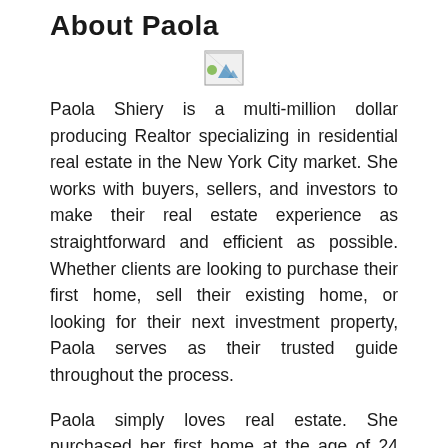About Paola
[Figure (photo): Broken/placeholder image icon]
Paola Shiery is a multi-million dollar producing Realtor specializing in residential real estate in the New York City market. She works with buyers, sellers, and investors to make their real estate experience as straightforward and efficient as possible. Whether clients are looking to purchase their first home, sell their existing home, or looking for their next investment property, Paola serves as their trusted guide throughout the process.
Paola simply loves real estate. She purchased her first home at the age of 24 and currently owns investment properties in Pennsylvania and Florida. She believes that purchasing real estate should be enjoyable and stress-free; that's the experience she strives to provide to each